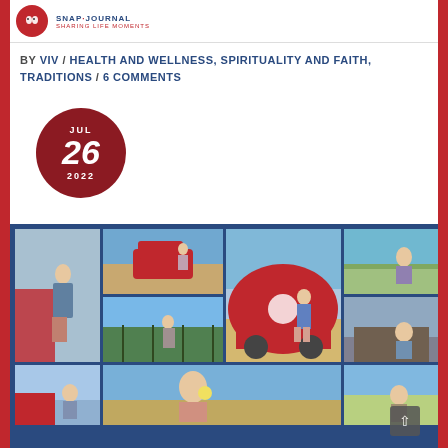Blog header with logo
By VIV / HEALTH AND WELLNESS, SPIRITUALITY AND FAITH, TRADITIONS / 6 COMMENTS
[Figure (other): Dark red circular date badge showing JUL 26 2022]
[Figure (photo): Photo collage grid of a woman and child near a red VW van in a vineyard/field setting, multiple photos arranged in a grid]